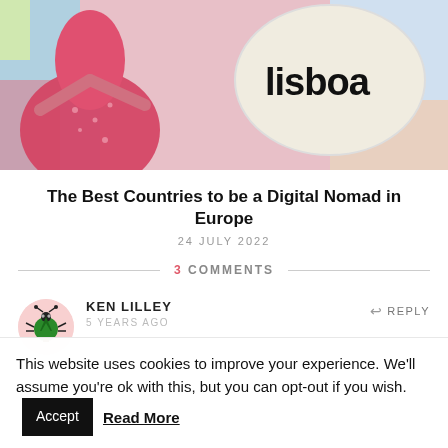[Figure (photo): Photo of a person in a red dress standing in front of a colorful Lisboa sign mural]
The Best Countries to be a Digital Nomad in Europe
24 JULY 2022
3 COMMENTS
KEN LILLEY
5 YEARS AGO
This website uses cookies to improve your experience. We'll assume you're ok with this, but you can opt-out if you wish. Accept Read More